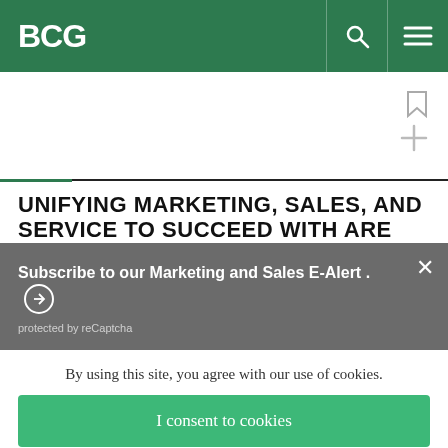BCG
UNIFYING MARKETING, SALES, AND SERVICE TO SUCCEED WITH ARE
Subscribe to our Marketing and Sales E-Alert.
protected by reCaptcha
By using this site, you agree with our use of cookies.
I consent to cookies
Want to know more?
Read our Cookie Policy